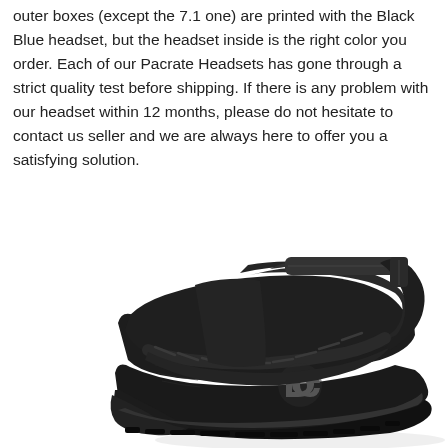outer boxes (except the 7.1 one) are printed with the Black Blue headset, but the headset inside is the right color you order. Each of our Pacrate Headsets has gone through a strict quality test before shipping. If there is any problem with our headset within 12 months, please do not hesitate to contact us seller and we are always here to offer you a satisfying solution.
[Figure (photo): A black high-top sneaker/skate shoe with laces and a velcro strap, featuring a DC logo on the side, photographed on a white background.]